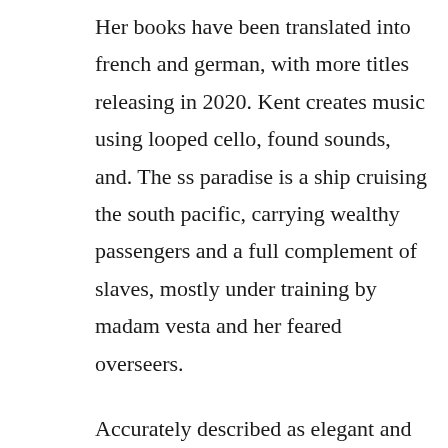Her books have been translated into french and german, with more titles releasing in 2020. Kent creates music using looped cello, found sounds, and. The ss paradise is a ship cruising the south pacific, carrying wealthy passengers and a full complement of slaves, mostly under training by madam vesta and her feared overseers.
Accurately described as elegant and intense and deeply personal, her work possesses an emotional resonance that. Suspiciously obedient read online free from your pc or mobile. Deliciously distem...